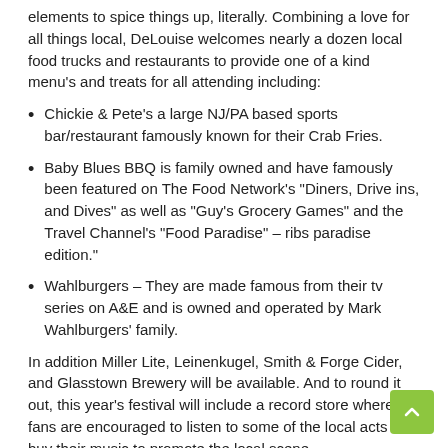elements to spice things up, literally. Combining a love for all things local, DeLouise welcomes nearly a dozen local food trucks and restaurants to provide one of a kind menu’s and treats for all attending including:
Chickie & Pete’s a large NJ/PA based sports bar/restaurant famously known for their Crab Fries.
Baby Blues BBQ is family owned and have famously been featured on The Food Network’s “Diners, Drive ins, and Dives” as well as “Guy’s Grocery Games” and the Travel Channel’s “Food Paradise” – ribs paradise edition.”
Wahlburgers – They are made famous from their tv series on A&E and is owned and operated by Mark Wahlburgers’ family.
In addition Miller Lite, Leinenkugel, Smith & Forge Cider, and Glasstown Brewery will be available. And to round it out, this year’s festival will include a record store where fans are encouraged to listen to some of the local acts and buy their music to promote the local scene.